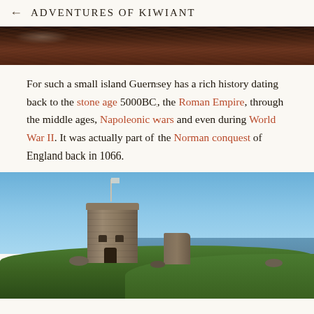← ADVENTURES OF KIWIANT
[Figure (photo): Aerial or overhead view of dark water with smoke or haze, reddish-brown tones]
For such a small island Guernsey has a rich history dating back to the stone age 5000BC, the Roman Empire, through the middle ages, Napoleonic wars and even during World War II. It was actually part of the Norman conquest of England back in 1066.
[Figure (photo): Stone coastal tower/fortification on a grassy hillside with blue sky and sea in the background, Guernsey]